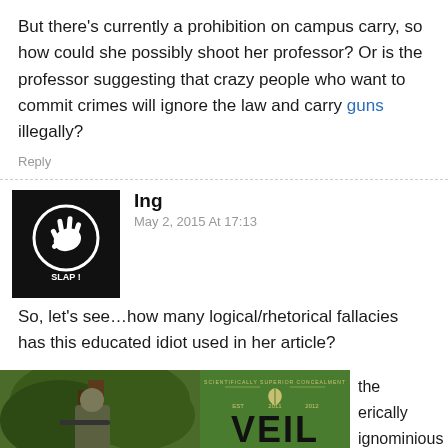But there's currently a prohibition on campus carry, so how could she possibly shoot her professor? Or is the professor suggesting that crazy people who want to commit crimes will ignore the law and carry guns illegally?
Reply
[Figure (illustration): Avatar icon: black circle with white hand/slap symbol and text SLAP! below]
Ing
May 2, 2015 At 17:13
So, let's see…how many logical/rhetorical fallacies has this educated idiot used in her article?
[Figure (photo): Person in camouflage gear in a tree in a forest]
[Figure (logo): VEIL CAMO advertisement on green background]
the erically ignominious